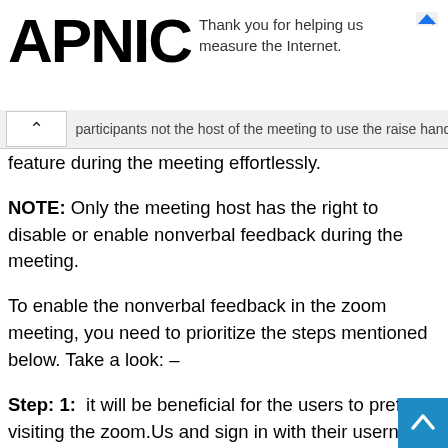APNIC — Thank you for helping us measure the Internet.
...participants not the host of the meeting to use the raise hand feature during the meeting effortlessly.
NOTE: Only the meeting host has the right to disable or enable nonverbal feedback during the meeting.
To enable the nonverbal feedback in the zoom meeting, you need to prioritize the steps mentioned below. Take a look: –
Step: 1: it will be beneficial for the users to prefer visiting the zoom.Us and sign in with their username and password.
Step: 2: after that, you need to click on my account tab, which is present on the right side of the upper corner, and then you need to select the settings under the personal ta...